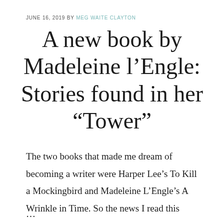JUNE 16, 2019 BY MEG WAITE CLAYTON
A new book by Madeleine l’Engle: Stories found in her “Tower”
The two books that made me dream of becoming a writer were Harper Lee’s To Kill a Mockingbird and Madeleine L’Engle’s A Wrinkle in Time. So the news I read this
…